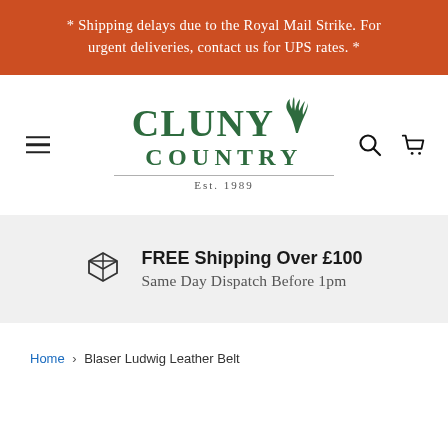* Shipping delays due to the Royal Mail Strike. For urgent deliveries, contact us for UPS rates. *
[Figure (logo): Cluny Country logo with antler icon, Est. 1989]
FREE Shipping Over £100
Same Day Dispatch Before 1pm
Home › Blaser Ludwig Leather Belt